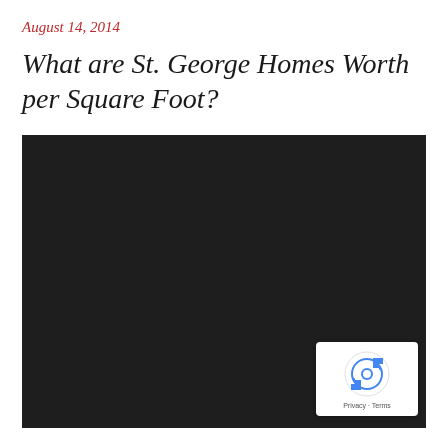August 14, 2014
What are St. George Homes Worth per Square Foot?
[Figure (other): Embedded Google Map showing St. George area, displayed with dark/satellite view. A reCAPTCHA badge is visible in the bottom-right corner with Privacy and Terms links.]